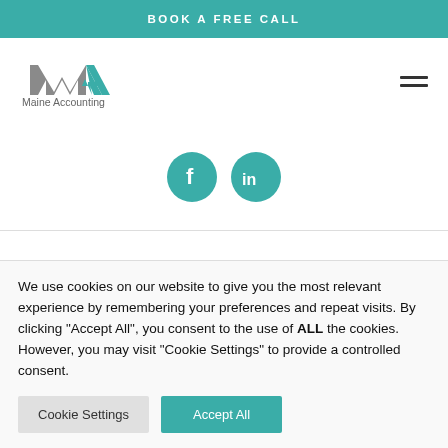BOOK A FREE CALL
[Figure (logo): Maine Accounting logo with stylized MA monogram in teal and gray, with text 'Maine Accounting' below]
[Figure (infographic): Social media icons: Facebook (f) and LinkedIn (in), both teal circles with white icons]
We use cookies on our website to give you the most relevant experience by remembering your preferences and repeat visits. By clicking "Accept All", you consent to the use of ALL the cookies. However, you may visit "Cookie Settings" to provide a controlled consent.
Cookie Settings | Accept All